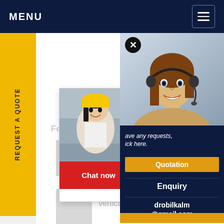MENU
REQUEST A QUOTE
[Figure (screenshot): Live Chat popup with construction workers image, title LIVE CHAT, subtitle Click for a Free Consultation, Chat now (red) and Chat later (dark) buttons]
Features
crushing and separation of rocks machine
vertical compound crusher
[Figure (photo): Customer support woman with headset, right-side panel on dark navy background]
ave any requests, ick here.
Quotation
Enquiry
drobilkalm@gmail.com